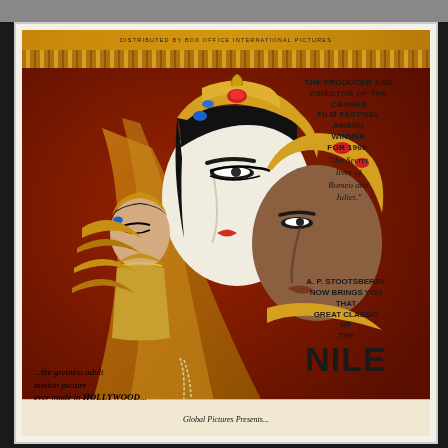[Figure (illustration): Movie poster for a Cleopatra-themed adult film. Shows illustrated Egyptian figures including a regal queen with golden headdress and black hair in profile, a male pharaoh figure in golden armor, and a smaller female figure in Egyptian costume with gold jewelry. Red and gold color scheme with decorative Egyptian border motifs.]
DISTRIBUTED BY BOX OFFICE INTERNATIONAL PICTURES
THE PRODUCER AND DIRECTOR OF THE CANNES FILM FESTIVAL AWARD WINNER FOR 1969: "the Secret lives of Romeo and Juliet." A. P. STOOTSBERRY NOW BRINGS YOU THAT GREAT CLASSIC OF THE NILE
...the greatest adult motion picture ever made in HOLLYWOOD...
Global Pictures Presents...